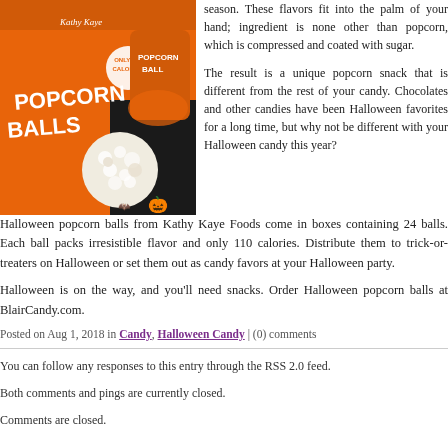[Figure (photo): Orange box of Kathy Kaye Popcorn Balls Halloween product with a white popcorn ball in front, on a dark background]
season. These flavors fit into the palm of your hand; ingredient is none other than popcorn, which is compressed and coated with sugar.
The result is a unique popcorn snack that is different from the rest of your candy. Chocolates and other candies have been Halloween favorites for a long time, but why not be different with your Halloween candy this year?
Halloween popcorn balls from Kathy Kaye Foods come in boxes containing 24 balls. Each ball packs irresistible flavor and only 110 calories. Distribute them to trick-or-treaters on Halloween or set them out as candy favors at your Halloween party.
Halloween is on the way, and you'll need snacks. Order Halloween popcorn balls at BlairCandy.com.
Posted on Aug 1, 2018 in Candy, Halloween Candy | (0) comments
You can follow any responses to this entry through the RSS 2.0 feed.
Both comments and pings are currently closed.
Comments are closed.